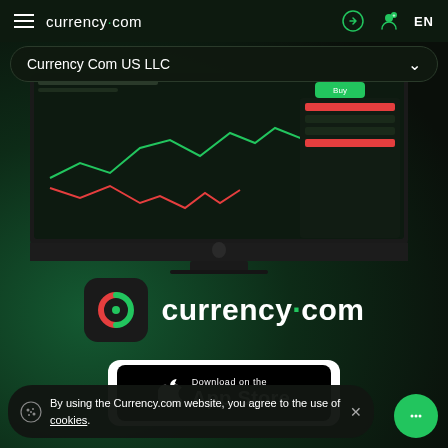currency.com  EN
Currency Com US LLC
[Figure (screenshot): iMac desktop computer displaying currency.com trading platform with candlestick/line chart showing green and red price movements on dark background, with a green Buy button visible]
[Figure (logo): currency.com logo: rounded square icon with red/green C symbol and white text 'currency·com']
[Figure (other): Download on the App Store button — white rounded card containing black App Store badge with Apple logo]
By using the Currency.com website, you agree to the use of cookies.